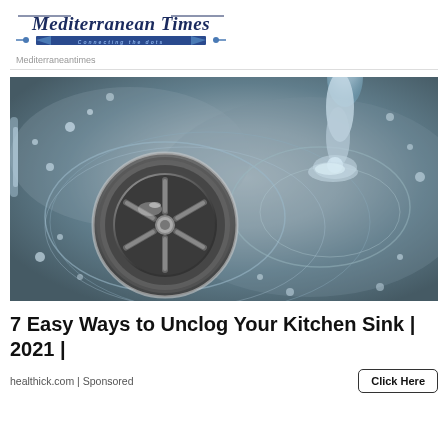Mediterranean Times
Mediterraneantimes
[Figure (photo): Close-up photo of a stainless steel kitchen sink drain with water swirling around it and a stream of water falling in the background]
7 Easy Ways to Unclog Your Kitchen Sink | 2021 |
healthick.com | Sponsored
Click Here